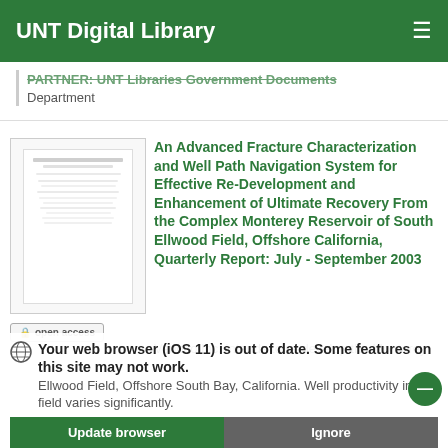UNT Digital Library
PARTNER: UNT Libraries Government Documents Department
[Figure (screenshot): Thumbnail preview of a government document cover page]
An Advanced Fracture Characterization and Well Path Navigation System for Effective Re-Development and Enhancement of Ultimate Recovery From the Complex Monterey Reservoir of South Ellwood Field, Offshore California, Quarterly Report: July - September 2003
open access
Venoco Inc, intends to re-develop the Monterey Ellwood Field Offshore South Bay, California. Well productivity in this field varies significantly.
Your web browser (iOS 11) is out of date. Some features on this site may not work.
Update browser  Ignore